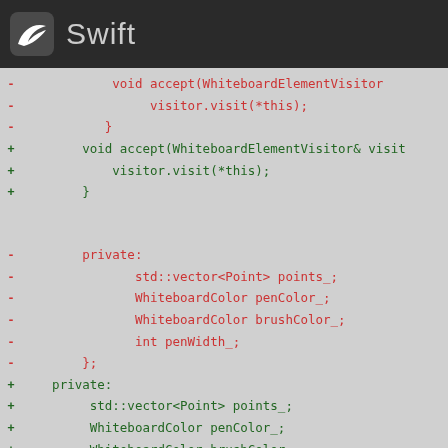Swift
Code diff showing changes to WhiteboardElement class with accept method and private member variables